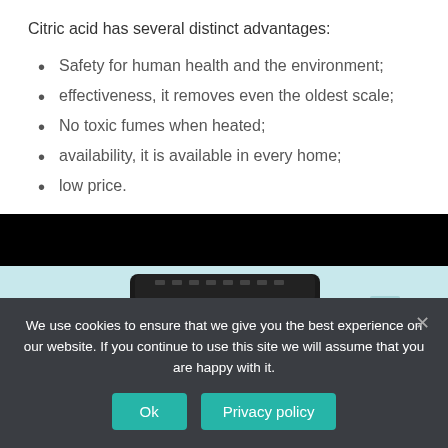Citric acid has several distinct advantages:
Safety for human health and the environment;
effectiveness, it removes even the oldest scale;
No toxic fumes when heated;
availability, it is available in every home;
low price.
[Figure (photo): A black kitchen appliance (air fryer or similar) on a light blue background, partially visible, with control knobs and dials on the front panel. The top of the image has a black bar.]
We use cookies to ensure that we give you the best experience on our website. If you continue to use this site we will assume that you are happy with it.